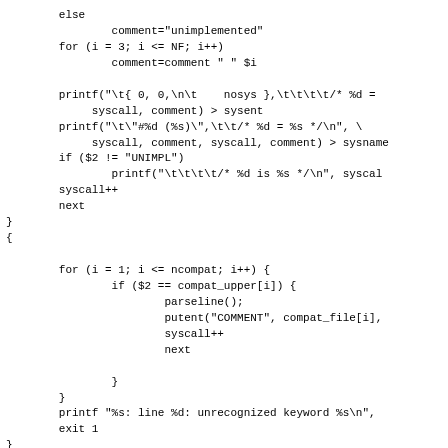else
        comment="unimplemented"
for (i = 3; i <= NF; i++)
        comment=comment " " $i

printf("\t{ 0, 0,\n\t    nosys },\t\t\t\t/* %d =
     syscall, comment) > sysent
printf("\t\"#%d (%s)\",\t\t/* %d = %s */\n", \
     syscall, comment, syscall, comment) > sysname
if ($2 != "UNIMPL")
        printf("\t\t\t\t/* %d is %s */\n", sysca
syscall++
next
}
{

    for (i = 1; i <= ncompat; i++) {
            if ($2 == compat_upper[i]) {
                    parseline();
                    putent("COMMENT", compat_file[i],
                    syscall++
                    next

                }
        }
    printf "%s: line %d: unrecognized keyword %s\n",
    exit 1
}
END {

    printf "\n#undef\tsyscallarg\n" > sysarghdr

    for (i = 1; i <= ncompat; i++) {